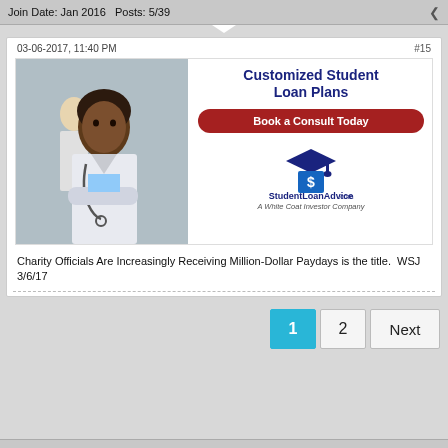Join Date: Jan 2016   Posts: 5739
03-06-2017, 11:40 PM
#15
[Figure (photo): Advertisement banner for StudentLoanAdvice.com featuring a Black female doctor in a white coat with stethoscope, text 'Customized Student Loan Plans', a red 'Book a Consult Today' button, and the StudentLoanAdvice.com logo with 'A White Coat Investor Company' tagline.]
Charity Officials Are Increasingly Receiving Million-Dollar Paydays is the title.  WSJ 3/6/17
1
2
Next